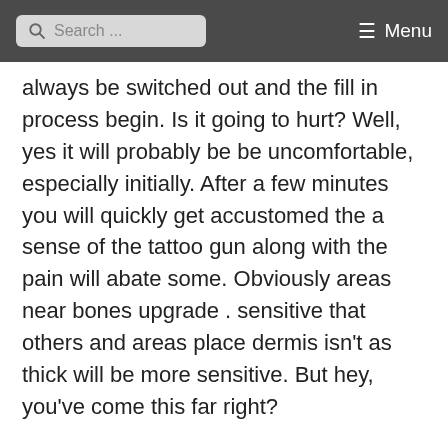Search ... Menu
always be switched out and the fill in process begin. Is it going to hurt? Well, yes it will probably be be uncomfortable, especially initially. After a few minutes you will quickly get accustomed the a sense of the tattoo gun along with the pain will abate some. Obviously areas near bones upgrade . sensitive that others and areas place dermis isn't as thick will be more sensitive. But hey, you've come this far right?
Once the tattooing ends and you have got your breath back, the artist will most likely give you instructions teaching how to care for your artwork. Is actually a basically for you to consist of keeping